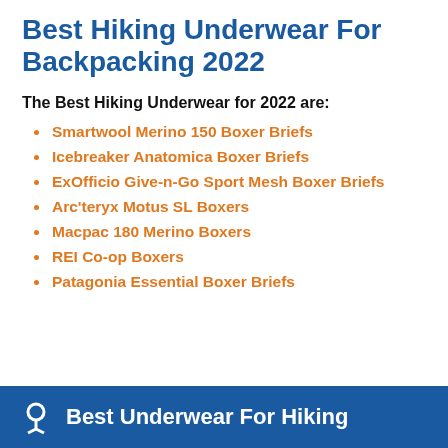Best Hiking Underwear For Backpacking 2022
The Best Hiking Underwear for 2022 are:
Smartwool Merino 150 Boxer Briefs
Icebreaker Anatomica Boxer Briefs
ExOfficio Give-n-Go Sport Mesh Boxer Briefs
Arc'teryx Motus SL Boxers
Macpac 180 Merino Boxers
REI Co-op Boxers
Patagonia Essential Boxer Briefs
Best Underwear For Hiking